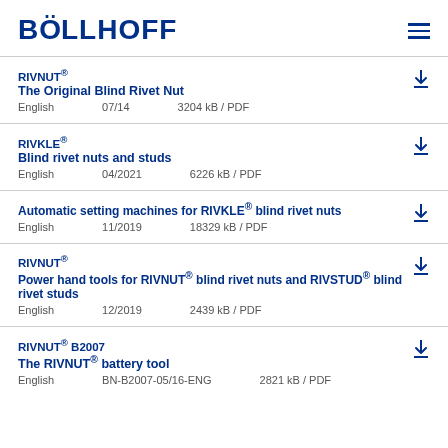BÖLLHOFF
RIVNUT®
The Original Blind Rivet Nut
English   07/14   3204 kB / PDF
RIVKLE®
Blind rivet nuts and studs
English   04/2021   6226 kB / PDF
Automatic setting machines for RIVKLE® blind rivet nuts
English   11/2019   18329 kB / PDF
RIVNUT®
Power hand tools for RIVNUT® blind rivet nuts and RIVSTUD® blind rivet studs
English   12/2019   2439 kB / PDF
RIVNUT® B2007
The RIVNUT® battery tool
English   BN-B2007-05/16-ENG   2821 kB / PDF